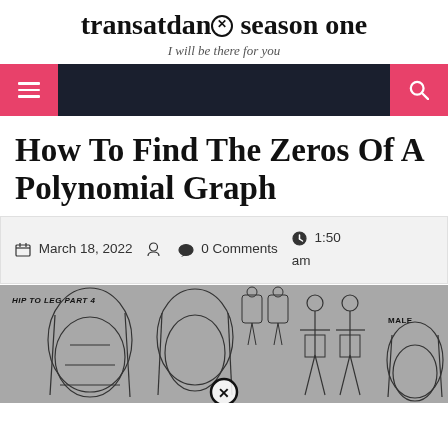transatdans season one
I will be there for you
How To Find The Zeros Of A Polynomial Graph
March 18, 2022   0 Comments   1:50 am
[Figure (illustration): Anatomical figure drawing sketches showing human body proportions from hip to leg. Label reads 'HIP TO LEG PART 4' with multiple figure poses and a 'MALE' label on the right side. Gray background with pencil sketch style drawings.]